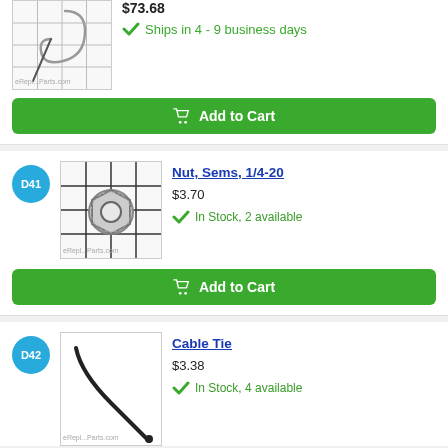$73.68
Ships in 4 - 9 business days
Add to Cart
D41
[Figure (photo): Product photo of Nut, Sems, 1/4-20 on grid background]
Nut, Sems, 1/4-20
$3.70
In Stock, 2 available
Add to Cart
D42
[Figure (photo): Product photo of Cable Tie on white background]
Cable Tie
$3.38
In Stock, 4 available